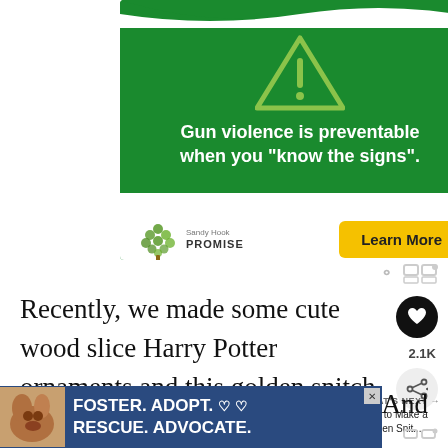[Figure (infographic): Sandy Hook Promise advertisement with green background, warning triangle icon, text 'Gun violence is preventable when you "know the signs".', Sandy Hook Promise logo, and yellow 'Learn More' button.]
Recently, we made some cute wood slice Harry Potter ornaments and this golden snitch ornament is just the perfect accompaniment. We're sharing a for those fun snitch wings, too, so scroll
[Figure (infographic): Footer advertisement: FOSTER. ADOPT. RESCUE. ADVOCATE. with dog photo on blue background.]